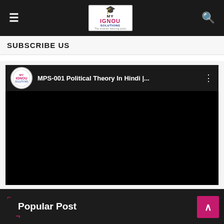MY IGNOU SOLUTIONS — The smarter learning point
SUBSCRIBE US
[Figure (screenshot): Embedded YouTube-style video player showing 'MPS-001 Political Theory In Hindi |...' with My IGNOU Solutions channel avatar, black video area, and three-dot menu icon]
Popular Post